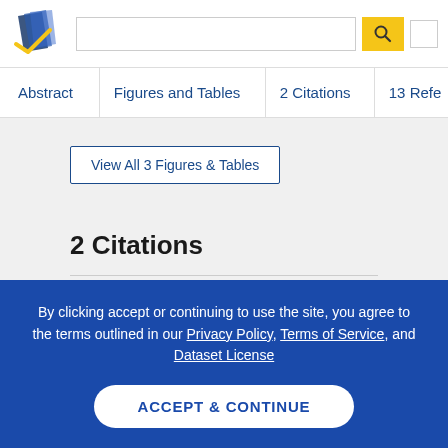Semantic Scholar — Search bar and navigation header
Abstract | Figures and Tables | 2 Citations | 13 Refe...
View All 3 Figures & Tables
2 Citations
By clicking accept or continuing to use the site, you agree to the terms outlined in our Privacy Policy, Terms of Service, and Dataset License
ACCEPT & CONTINUE